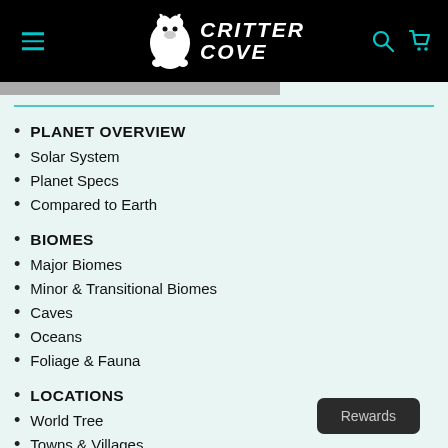Critter Cove — navigation header with logo, menu icon, search and cart icons
PLANET OVERVIEW
Solar System
Planet Specs
Compared to Earth
BIOMES
Major Biomes
Minor & Transitional Biomes
Caves
Oceans
Foliage & Fauna
LOCATIONS
World Tree
Towns & Villages
Rewards